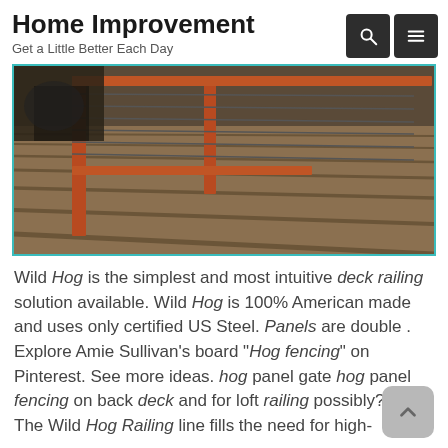Home Improvement
Get a Little Better Each Day
[Figure (photo): A composite deck with wood-grain style planks receding into the distance, with a red-framed railing system featuring wire cable rails. Outdoor furniture visible in the background.]
Wild Hog is the simplest and most intuitive deck railing solution available. Wild Hog is 100% American made and uses only certified US Steel. Panels are double . Explore Amie Sullivan's board "Hog fencing" on Pinterest. See more ideas. hog panel gate hog panel fencing on back deck and for loft railing possibly? Hog . The Wild Hog Railing line fills the need for high-